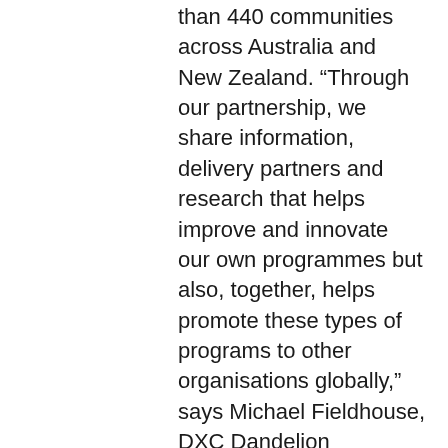than 440 communities across Australia and New Zealand. “Through our partnership, we share information, delivery partners and research that helps improve and innovate our own programmes but also, together, helps promote these types of programs to other organisations globally,” says Michael Fieldhouse, DXC Dandelion programme executive.
Claire Robbs, Life Without Barriers chief executive, says something similar. “People with a disability who find sustainable employment benefit from greater independence,